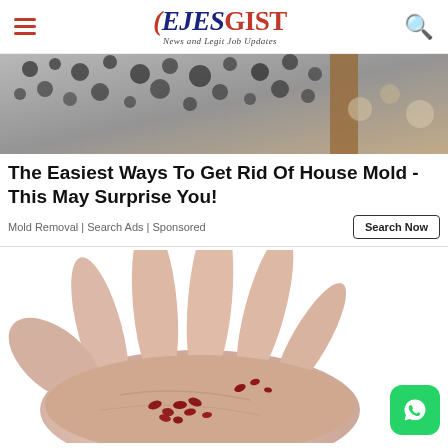EJESGIST — News and Legit Job Updates
[Figure (photo): Photo of mold on a wall near a wooden door frame, dark mold spots on white/grey surface]
The Easiest Ways To Get Rid Of House Mold - This May Surprise You!
Mold Removal | Search Ads | Sponsored
[Figure (photo): A hand palm open holding small red/dark seeds or berries on a white background]